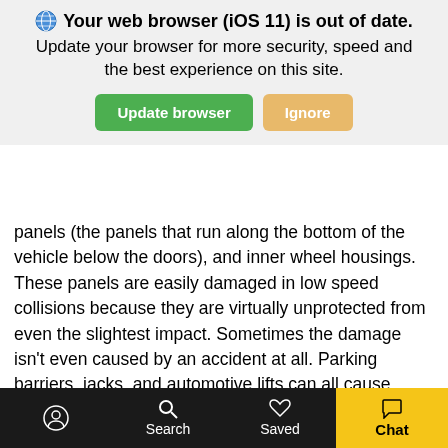[Figure (screenshot): Browser update notification banner overlay showing 'Your web browser (iOS 11) is out of date. Update your browser for more security, speed and the best experience on this site.' with green 'Update browser' button and orange 'Ignore' button.]
panels (the panels that run along the bottom of the vehicle below the doors), and inner wheel housings. These panels are easily damaged in low speed collisions because they are virtually unprotected from even the slightest impact. Sometimes the damage isn't even caused by an accident at all. Parking barriers, jacks, and automotive lifts can all cause structural damage. So the natural question is usually, “why should I consider purchasing a vehicle with a report of structural damage or repair? The reason is simple. Savings. Vehicles with reported structural damage are typically about 20-30% cheaper than a comparable vehicle with a “Clean Carfax”. That means that a vehicle that might typically sell for $20,000, could be priced at only $15,000. Not only would that $5000 save a customer about $100 per month based on a 5 year loan, but it also means a savvy used car buyer can purchase a newer vehicle with more remaining factory
[Figure (screenshot): Mobile app bottom navigation bar with accessibility icon, Search, Saved, and Chat (highlighted in yellow) buttons on a dark background.]